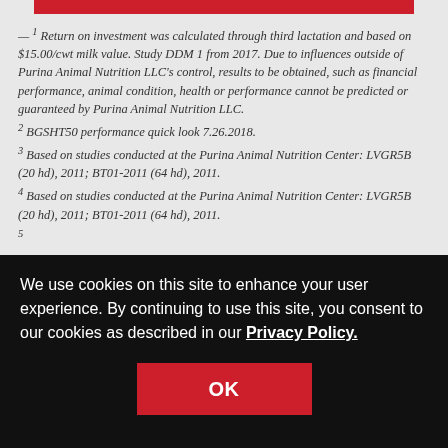[Figure (other): Red horizontal bar at top of page]
— 1 Return on investment was calculated through third lactation and based on $15.00/cwt milk value. Study DDM 1 from 2017. Due to influences outside of Purina Animal Nutrition LLC's control, results to be obtained, such as financial performance, animal condition, health or performance cannot be predicted or guaranteed by Purina Animal Nutrition LLC.
2 BGSHT50 performance quick look 7.26.2018.
3 Based on studies conducted at the Purina Animal Nutrition Center: LVGR5B (20 hd), 2011; BT01-2011 (64 hd), 2011.
4 Based on studies conducted at the Purina Animal Nutrition Center: LVGR5B (20 hd), 2011; BT01-2011 (64 hd), 2011.
5 [partially visible]
We use cookies on this site to enhance your user experience. By continuing to use this site, you consent to our cookies as described in our Privacy Policy.